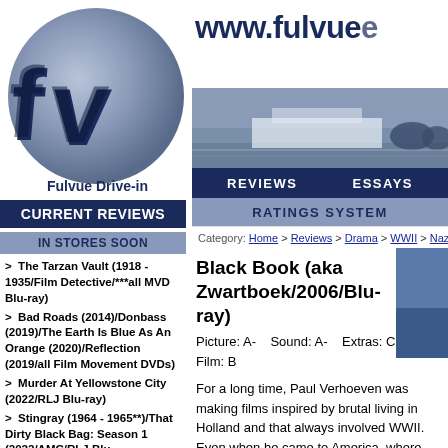[Figure (logo): FV Fulvue Drive-in logo — circular badge with stylized 3D 'fv' letters in dark navy blue on a grey-blue gradient circle background]
www.fulvue
REVIEWS   ESSAYS   RATINGS SYSTEM
Category: Home > Reviews > Drama > WWII > Nazi
Black Book (aka Zwartboek/2006/Blu-ray)
Picture: A-    Sound: A-    Extras: C+    Film: B
CURRENT REVIEWS
IN STORES SOON
> The Tarzan Vault (1918 - 1935/Film Detective/***all MVD Blu-ray)
> Bad Roads (2014)/Donbass (2019)/The Earth Is Blue As An Orange (2020)/Reflection (2019/all Film Movement DVDs)
> Murder At Yellowstone City (2022/RLJ Blu-ray)
> Stingray (1964 - 1965**)/That Dirty Black Bag: Season 1 (2022/AMC/RLJ Blu-ray)/Wanted: Dead Or Alive (1958 - 1961/**both Via Vision PAL Region Free Import DVD Complete Series sets)
> Batwoman: The Complete Third &
For a long time, Paul Verhoeven was making films inspired by brutal living in Holland and that always involved WWII. Even when he came to America, where his films became colder, darker and more cynical, the result was an anti-fascist streak that informed the dangers of corporations in